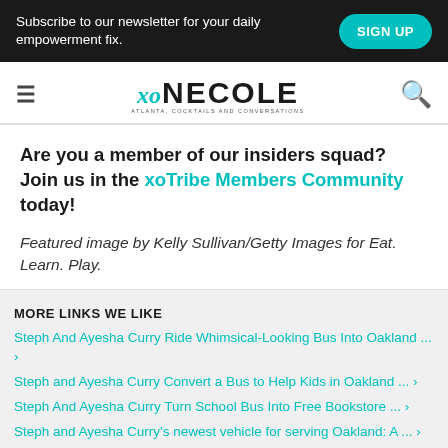Subscribe to our newsletter for your daily empowerment fix. SIGN UP
[Figure (logo): xoNecole logo with hamburger menu and search icon]
Are you a member of our insiders squad? Join us in the xoTribe Members Community today!
Featured image by Kelly Sullivan/Getty Images for Eat. Learn. Play.
MORE LINKS WE LIKE
Steph And Ayesha Curry Ride Whimsical-Looking Bus Into Oakland ... ›
Steph and Ayesha Curry Convert a Bus to Help Kids in Oakland ... ›
Steph And Ayesha Curry Turn School Bus Into Free Bookstore ... ›
Steph and Ayesha Curry's newest vehicle for serving Oakland: A ... ›